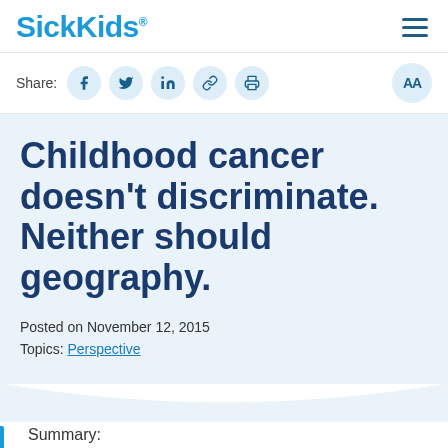SickKids
Share:
Childhood cancer doesn't discriminate. Neither should geography.
Posted on November 12, 2015
Topics: Perspective
Summary: